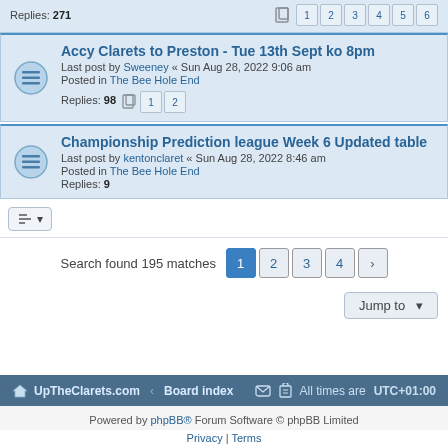Replies: 271 [pages 1 2 3 4 5 6]
Accy Clarets to Preston - Tue 13th Sept ko 8pm
Last post by Sweeney « Sun Aug 28, 2022 9:06 am
Posted in The Bee Hole End
Replies: 98 [pages 1 2]
Championship Prediction league Week 6 Updated table
Last post by kentonclaret « Sun Aug 28, 2022 8:46 am
Posted in The Bee Hole End
Replies: 9
Search found 195 matches  [pages 1 2 3 4 >]
Jump to
UpTheClarets.com · Board index    All times are UTC+01:00
Powered by phpBB® Forum Software © phpBB Limited
Privacy | Terms